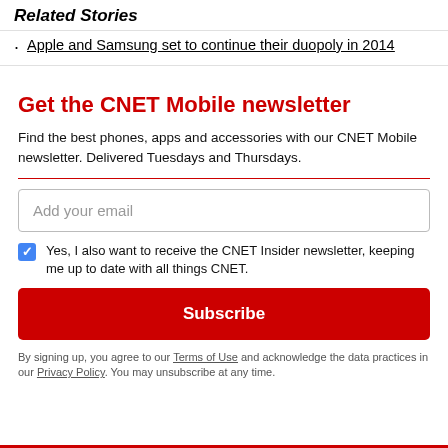Related Stories
Apple and Samsung set to continue their duopoly in 2014
Get the CNET Mobile newsletter
Find the best phones, apps and accessories with our CNET Mobile newsletter. Delivered Tuesdays and Thursdays.
Add your email
Yes, I also want to receive the CNET Insider newsletter, keeping me up to date with all things CNET.
Subscribe
By signing up, you agree to our Terms of Use and acknowledge the data practices in our Privacy Policy. You may unsubscribe at any time.